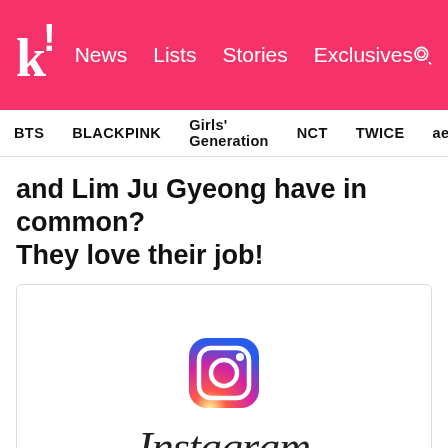k! News Lists Stories Exclusives
BTS BLACKPINK Girls' Generation NCT TWICE aespa
and Lim Ju Gyeong have in common? They love their job!
[Figure (logo): Instagram logo with gradient camera icon and Instagram wordmark in script font]